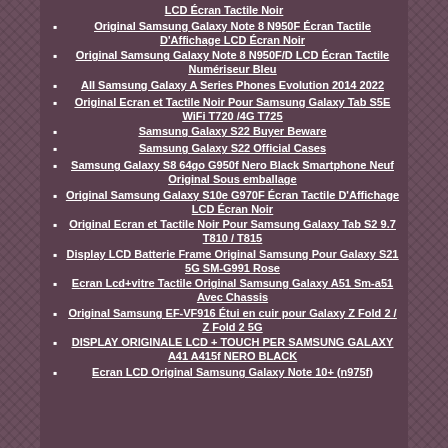LCD Écran Tactile Noir
Original Samsung Galaxy Note 8 N950F Écran Tactile D'Affichage LCD Écran Noir
Original Samsung Galaxy Note 8 N950F/D LCD Écran Tactile Numériseur Bleu
All Samsung Galaxy A Series Phones Evolution 2014 2022
Original Ecran et Tactile Noir Pour Samsung Galaxy Tab S5E WiFi T720 /4G T725
Samsung Galaxy S22 Buyer Beware
Samsung Galaxy S22 Official Cases
Samsung Galaxy S8 64go G950f Nero Black Smartphone Neuf Original Sous emballage
Original Samsung Galaxy S10e G970F Écran Tactile D'Affichage LCD Écran Noir
Original Ecran et Tactile Noir Pour Samsung Galaxy Tab S2 9.7 T810 / T815
Display LCD Batterie Frame Original Samsung Pour Galaxy S21 5G SM-G991 Rose
Ecran Lcd+vitre Tactile Original Samsung Galaxy A51 Sm-a51 Avec Chassis
Original Samsung EF-VF916 Étui en cuir pour Galaxy Z Fold 2 / Z Fold 2 5G
DISPLAY ORIGINALE LCD + TOUCH PER SAMSUNG GALAXY A41 A415f NERO BLACK
Ecran LCD Original Samsung Galaxy Note 10+ (n975f)